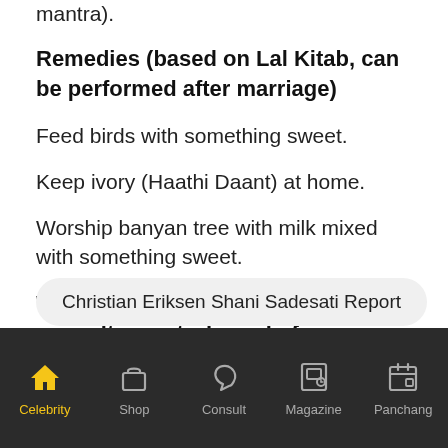mantra).
Remedies (based on Lal Kitab, can be performed after marriage)
Feed birds with something sweet.
Keep ivory (Haathi Daant) at home.
Worship banyan tree with milk mixed with something sweet.
We strongly recommend you to consult an astrologer before performing these remedies by your own.
Christian Eriksen Shani Sadesati Report
Celebrity | Shop | Consult | Magazine | Panchang